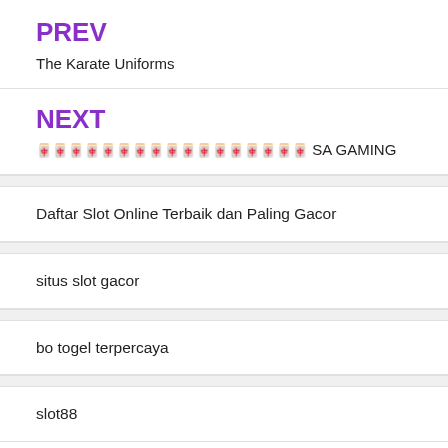PREV
The Karate Uniforms
NEXT
🀄🀄🀄🀄🀄🀄🀄🀄🀄🀄🀄🀄🀄🀄🀄🀄🀄 SA GAMING
Daftar Slot Online Terbaik dan Paling Gacor
situs slot gacor
bo togel terpercaya
slot88